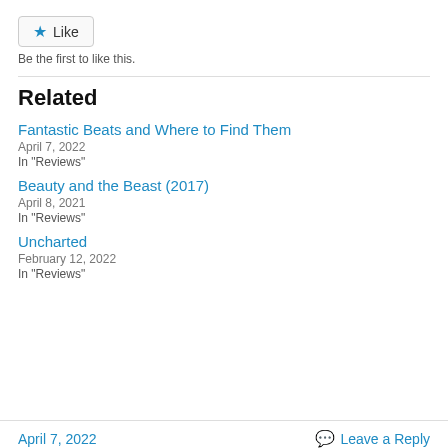Like
Be the first to like this.
Related
Fantastic Beats and Where to Find Them
April 7, 2022
In "Reviews"
Beauty and the Beast (2017)
April 8, 2021
In "Reviews"
Uncharted
February 12, 2022
In "Reviews"
April 7, 2022   Leave a Reply